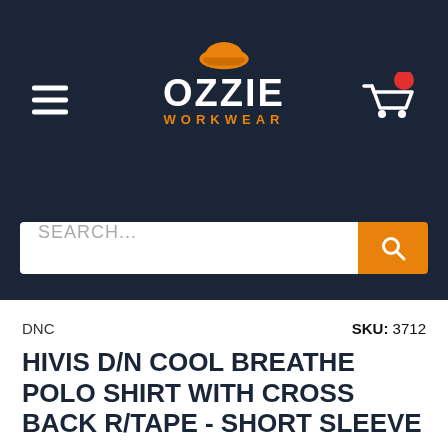[Figure (logo): Ozzie Workwear logo with orange construction helmet above white bold text 'OZZIE' and orange text 'WORKWEAR' in navy header bar]
[Figure (other): Search bar with placeholder text 'SEARCH...' and orange search button with magnifying glass icon]
DNC
SKU: 3712
HIVIS D/N COOL BREATHE POLO SHIRT WITH CROSS BACK R/TAPE - SHORT SLEEVE
ORANGE/NAVY